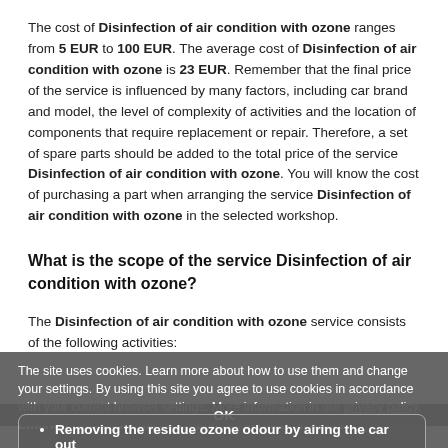The cost of Disinfection of air condition with ozone ranges from 5 EUR to 100 EUR. The average cost of Disinfection of air condition with ozone is 23 EUR. Remember that the final price of the service is influenced by many factors, including car brand and model, the level of complexity of activities and the location of components that require replacement or repair. Therefore, a set of spare parts should be added to the total price of the service Disinfection of air condition with ozone. You will know the cost of purchasing a part when arranging the service Disinfection of air condition with ozone in the selected workshop.
What is the scope of the service Disinfection of air condition with ozone?
The Disinfection of air condition with ozone service consists of the following activities:
The site uses cookies. Learn more about how to use them and change your settings. By using this site you agree to use cookies in accordance with your current browser settings. More information in our privacy policy.  Entering ozone into the cabin and the ventilation ducts
Removing the residue ozone odour by airing the car out
OK